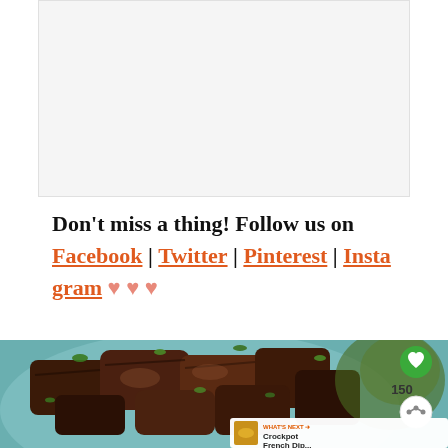[Figure (other): Advertisement placeholder banner]
Don't miss a thing! Follow us on Facebook | Twitter | Pinterest | Instagram ♥ ♥ ♥
[Figure (photo): Close-up photo of shredded beef on a blue plate with herbs, with a heart/save button showing 150 shares, a share icon, and a 'What's Next: Crockpot French Dip...' overlay in the bottom right corner.]